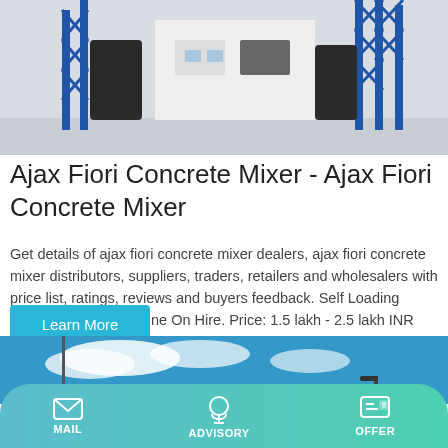[Figure (photo): Industrial concrete mixer / batching plant with blue steel frame structures and black silos against a white building and light grey background]
Ajax Fiori Concrete Mixer - Ajax Fiori Concrete Mixer
Get details of ajax fiori concrete mixer dealers, ajax fiori concrete mixer distributors, suppliers, traders, retailers and wholesalers with price list, ratings, reviews and buyers feedback. Self Loading Concrete Mixer Machine On Hire. Price: 1.5 lakh - 2.5 lakh INR (Approx.) Get latest price.
Learn More
[Figure (photo): Sky with white clouds and a utility pole, blue sky background]
MAIL   ADVISORY   OFFER